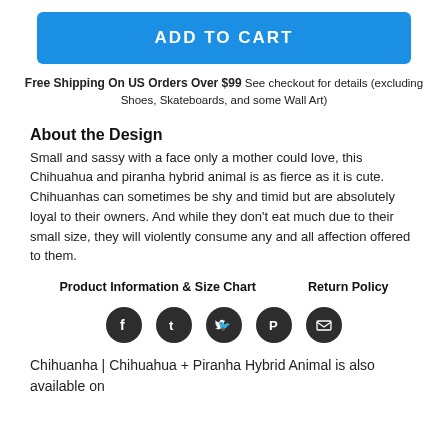ADD TO CART
Free Shipping On US Orders Over $99 See checkout for details (excluding Shoes, Skateboards, and some Wall Art)
About the Design
Small and sassy with a face only a mother could love, this Chihuahua and piranha hybrid animal is as fierce as it is cute. Chihuanhas can sometimes be shy and timid but are absolutely loyal to their owners. And while they don't eat much due to their small size, they will violently consume any and all affection offered to them.
Product Information & Size Chart     Return Policy
[Figure (infographic): Row of 5 dark circular social media icon buttons: Facebook, Tumblr, Twitter, Pinterest, Email]
Chihuanha | Chihuahua + Piranha Hybrid Animal is also available on